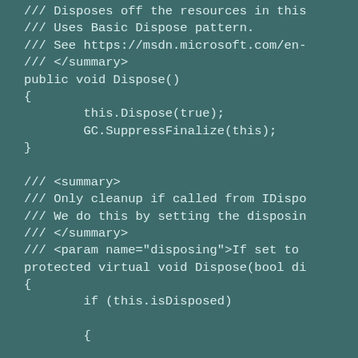/// Disposes off the resources in this
/// Uses Basic Dispose pattern.
/// See https://msdn.microsoft.com/en-
/// </summary>
public void Dispose()
{
        this.Dispose(true);
        GC.SuppressFinalize(this);
}

/// <summary>
/// Only cleanup if called from IDispo
/// We do this by setting the disposin
/// </summary>
/// <param name="disposing">If set to
protected virtual void Dispose(bool di
{
        if (this.isDisposed)
        {